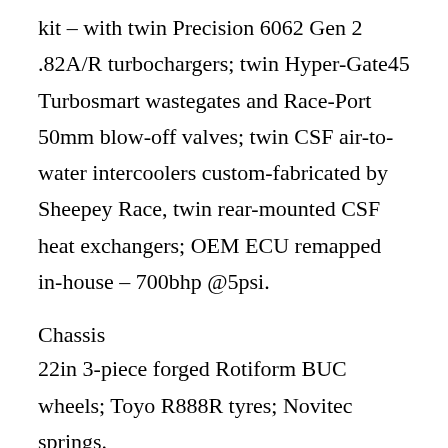kit – with twin Precision 6062 Gen 2 .82A/R turbochargers; twin Hyper-Gate45 Turbosmart wastegates and Race-Port 50mm blow-off valves; twin CSF air-to-water intercoolers custom-fabricated by Sheepey Race, twin rear-mounted CSF heat exchangers; OEM ECU remapped in-house – 700bhp @5psi.
Chassis
22in 3-piece forged Rotiform BUC wheels; Toyo R888R tyres; Novitec springs.